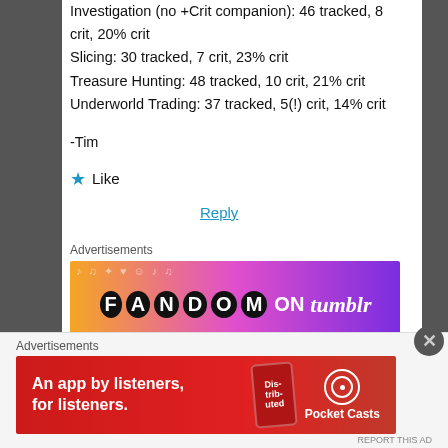Investigation (no +Crit companion): 46 tracked, 8 crit, 20% crit
Slicing: 30 tracked, 7 crit, 23% crit
Treasure Hunting: 48 tracked, 10 crit, 21% crit
Underworld Trading: 37 tracked, 5(!) crit, 14% crit
-Tim
★ Like
Reply
Advertisements
[Figure (infographic): Colorful Fandom on Tumblr advertisement banner with orange-to-purple gradient and doodle decorations]
REPORT THIS AD
Advertisements
[Figure (infographic): Pocket Casts advertisement on red background: 'An app by listeners, for listeners.' with Pocket Casts logo]